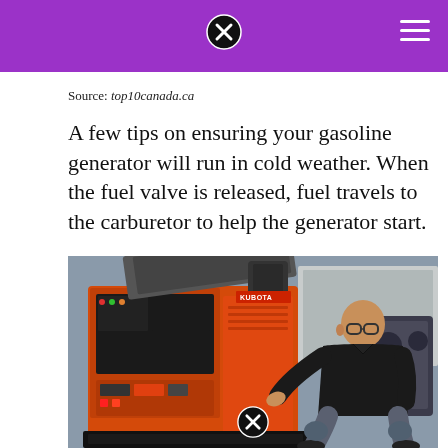Source: top10canada.ca
A few tips on ensuring your gasoline generator will run in cold weather. When the fuel valve is released, fuel travels to the carburetor to help the generator start.
[Figure (photo): A technician in a black polo shirt and glasses works on a large orange industrial generator at what appears to be a trade show or warehouse. The generator has an open panel revealing internal components.]